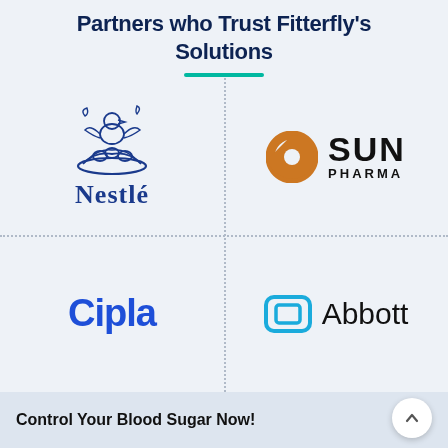Partners who Trust Fitterfly's Solutions
[Figure (logo): Nestlé logo with bird nest illustration and blue Nestlé wordmark]
[Figure (logo): Sun Pharma logo with orange circular swirl and black SUN PHARMA text]
[Figure (logo): Cipla logo in bold blue text]
[Figure (logo): Abbott logo with blue rounded rectangle icon and Abbott wordmark]
Control Your Blood Sugar Now!